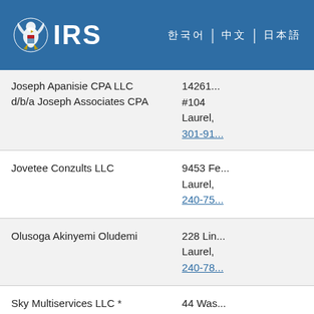IRS
| Name | Address |
| --- | --- |
| Joseph Apanisie CPA LLC d/b/a Joseph Associates CPA | 14261... #104 Laurel, 301-91... |
| Jovetee Conzults LLC | 9453 Fe... Laurel, 240-75... |
| Olusoga Akinyemi Oludemi | 228 Lin... Laurel, 240-78... |
| Sky Multiservices LLC * | 44 Was... Laurel, 301-54... |
| Friendly Insurance Agency Inc. | 471 We... Lur... |